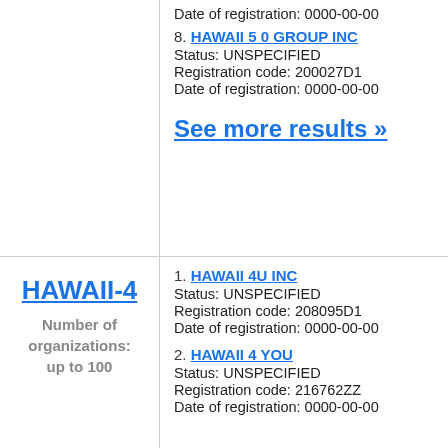Date of registration: 0000-00-00
8. HAWAII 5 0 GROUP INC
Status: UNSPECIFIED
Registration code: 200027D1
Date of registration: 0000-00-00
See more results »
HAWAII-4
Number of organizations: up to 100
1. HAWAII 4U INC
Status: UNSPECIFIED
Registration code: 208095D1
Date of registration: 0000-00-00
2. HAWAII 4 YOU
Status: UNSPECIFIED
Registration code: 216762ZZ
Date of registration: 0000-00-00